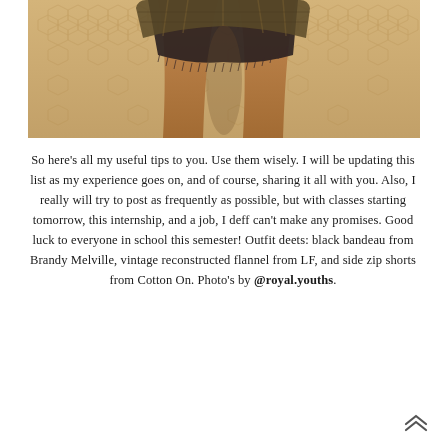[Figure (photo): Photo of a person from waist down wearing denim cut-off shorts and a plaid flannel shirt, standing on a cobblestone or hexagonal paved surface. The image has a warm, sepia/vintage tone.]
So here's all my useful tips to you. Use them wisely. I will be updating this list as my experience goes on, and of course, sharing it all with you. Also, I really will try to post as frequently as possible, but with classes starting tomorrow, this internship, and a job, I deff can't make any promises. Good luck to everyone in school this semester! Outfit deets: black bandeau from Brandy Melville, vintage reconstructed flannel from LF, and side zip shorts from Cotton On. Photo's by @royal.youths.